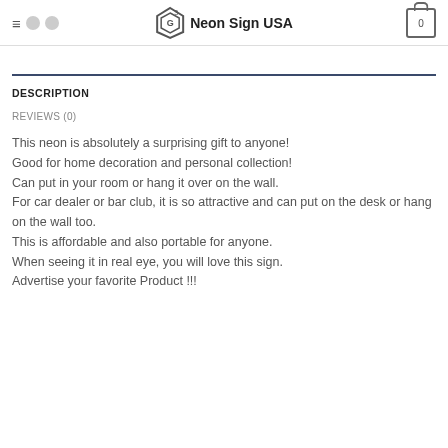≡ [social icons] Neon Sign USA [cart: 0]
DESCRIPTION
REVIEWS (0)
This neon is absolutely a surprising gift to anyone! Good for home decoration and personal collection! Can put in your room or hang it over on the wall. For car dealer or bar club, it is so attractive and can put on the desk or hang on the wall too. This is affordable and also portable for anyone. When seeing it in real eye, you will love this sign. Advertise your favorite Product !!!